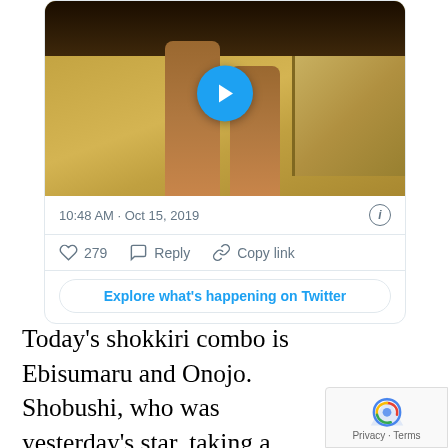[Figure (screenshot): A Twitter/X embedded tweet card showing a video thumbnail of a sumo wrestler's legs on a clay ring (dohyo) with an audience in the background. The video has a blue play button overlay. Below the video: timestamp '10:48 AM · Oct 15, 2019' with an info icon. Action row: heart icon with '279', reply icon with 'Reply', link icon with 'Copy link'. A button reads 'Explore what's happening on Twitter'.]
Today's shokkiri combo is Ebisumaru and Onojo. Shobushi, who was yesterday's star, taking a break.